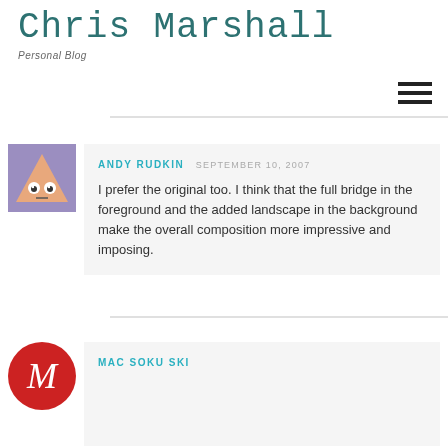Chris Marshall
Personal Blog
ANDY RUDKIN  SEPTEMBER 10, 2007
I prefer the original too. I think that the full bridge in the foreground and the added landscape in the background make the overall composition more impressive and imposing.
MAC SOKU SKI